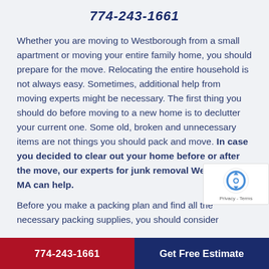774-243-1661
Whether you are moving to Westborough from a small apartment or moving your entire family home, you should prepare for the move. Relocating the entire household is not always easy. Sometimes, additional help from moving experts might be necessary. The first thing you should do before moving to a new home is to declutter your current one. Some old, broken and unnecessary items are not things you should pack and move. In case you decided to clear out your home before or after the move, our experts for junk removal Westborough MA can help.
Before you make a packing plan and find all the necessary packing supplies, you should consider
774-243-1661    Get Free Estimate